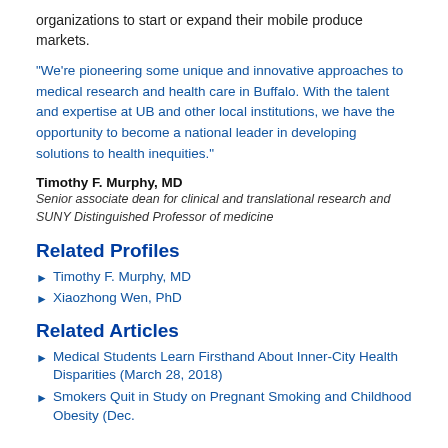organizations to start or expand their mobile produce markets.
“We’re pioneering some unique and innovative approaches to medical research and health care in Buffalo. With the talent and expertise at UB and other local institutions, we have the opportunity to become a national leader in developing solutions to health inequities.”
Timothy F. Murphy, MD
Senior associate dean for clinical and translational research and SUNY Distinguished Professor of medicine
Related Profiles
Timothy F. Murphy, MD
Xiaozhong Wen, PhD
Related Articles
Medical Students Learn Firsthand About Inner-City Health Disparities (March 28, 2018)
Smokers Quit in Study on Pregnant Smoking and Childhood Obesity (Dec.